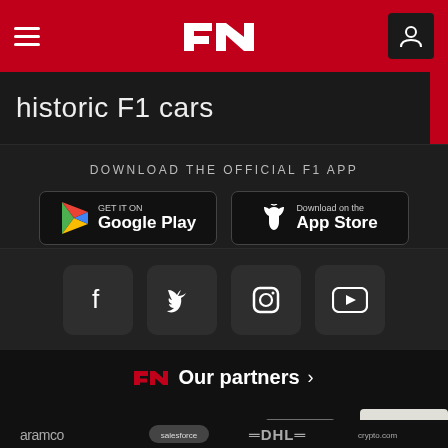[Figure (screenshot): F1 website navigation bar with hamburger menu, F1 logo, and account button]
historic F1 cars
DOWNLOAD THE OFFICIAL F1 APP
[Figure (screenshot): Google Play store download button]
[Figure (screenshot): Apple App Store download button]
[Figure (screenshot): Social media icons: Facebook, Twitter, Instagram, YouTube]
Our partners >
[Figure (logo): Rolex logo]
[Figure (logo): Pirelli 150 logo]
[Figure (logo): Heineken 0.0 logo]
[Figure (logo): Emirates logo]
[Figure (logo): Aramco logo]
[Figure (logo): Salesforce logo]
[Figure (logo): DHL logo]
[Figure (logo): crypto.com logo]